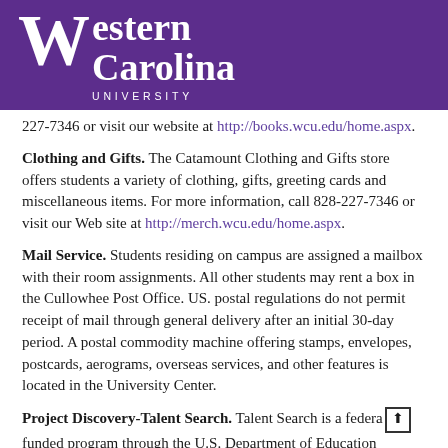[Figure (logo): Western Carolina University logo — white W and text 'Western Carolina UNIVERSITY' on purple background]
227-7346 or visit our website at http://books.wcu.edu/home.aspx.
Clothing and Gifts. The Catamount Clothing and Gifts store offers students a variety of clothing, gifts, greeting cards and miscellaneous items. For more information, call 828-227-7346 or visit our Web site at http://merch.wcu.edu/home.aspx.
Mail Service. Students residing on campus are assigned a mailbox with their room assignments. All other students may rent a box in the Cullowhee Post Office. US. postal regulations do not permit receipt of mail through general delivery after an initial 30-day period. A postal commodity machine offering stamps, envelopes, postcards, aerograms, overseas services, and other features is located in the University Center.
Project Discovery-Talent Search. Talent Search is a federally-funded program through the U.S. Department of Education